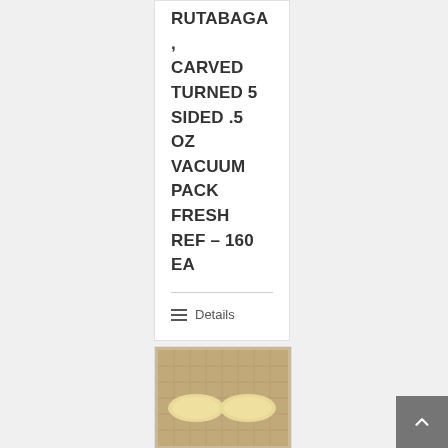RUTABAGA, CARVED TURNED 5 SIDED .5 OZ VACUUM PACK FRESH REF – 160 EA
Details
[Figure (photo): Two oval/football-shaped carved rutabaga pieces on a grid mat background]